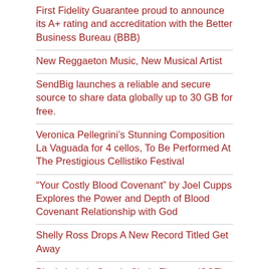First Fidelity Guarantee proud to announce its A+ rating and accreditation with the Better Business Bureau (BBB)
New Reggaeton Music, New Musical Artist
SendBig launches a reliable and secure source to share data globally up to 30 GB for free.
Veronica Pellegrini's Stunning Composition La Vaguada for 4 cellos, To Be Performed At The Prestigious Cellistiko Festival
“Your Costly Blood Covenant” by Joel Cupps Explores the Power and Depth of Blood Covenant Relationship with God
Shelly Ross Drops A New Record Titled Get Away
Blockchain in Supply Chain Finance (SCF) By Azgari Lipshy
Copywrite America's Solar Scale Program Takes Solar Companies To New Heights Through Online Marketing